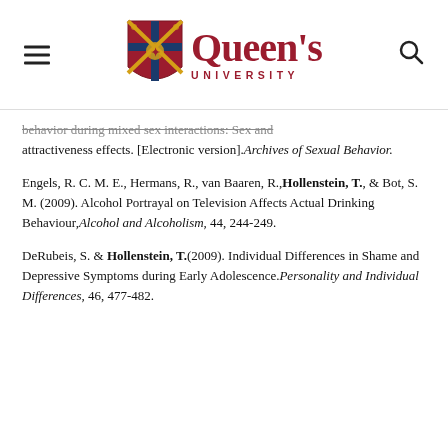[Figure (logo): Queen's University logo with shield crest and red text reading Queen's University]
behavior during mixed sex interactions: Sex and attractiveness effects. [Electronic version].Archives of Sexual Behavior.
Engels, R. C. M. E., Hermans, R., van Baaren, R., Hollenstein, T., & Bot, S. M. (2009). Alcohol Portrayal on Television Affects Actual Drinking Behaviour, Alcohol and Alcoholism, 44, 244-249.
DeRubeis, S. & Hollenstein, T.(2009). Individual Differences in Shame and Depressive Symptoms during Early Adolescence. Personality and Individual Differences, 46, 477-482.